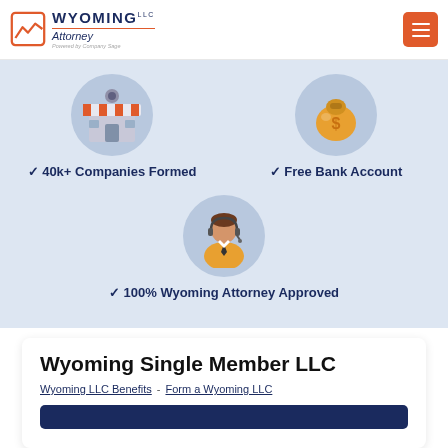[Figure (logo): Wyoming LLC Attorney logo with mountain/store icon, text 'WYOMING LLC Attorney - Powered by Company Sage']
[Figure (illustration): Orange hamburger menu button (three horizontal lines) on orange background]
[Figure (illustration): Circular illustration of a storefront/shop building with red and white awning on blue-grey background]
✓ 40k+ Companies Formed
[Figure (illustration): Circular illustration of a money bag with dollar sign on blue-grey background]
✓ Free Bank Account
[Figure (illustration): Circular illustration of a customer service representative with headset on blue-grey background]
✓ 100% Wyoming Attorney Approved
Wyoming Single Member LLC
Wyoming LLC Benefits - Form a Wyoming LLC